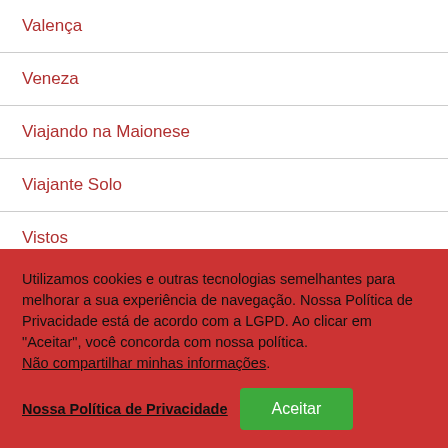Valença
Veneza
Viajando na Maionese
Viajante Solo
Vistos
Datas
Utilizamos cookies e outras tecnologias semelhantes para melhorar a sua experiência de navegação. Nossa Política de Privacidade está de acordo com a LGPD. Ao clicar em "Aceitar", você concorda com nossa política. Não compartilhar minhas informações.
Nossa Política de Privacidade
Aceitar